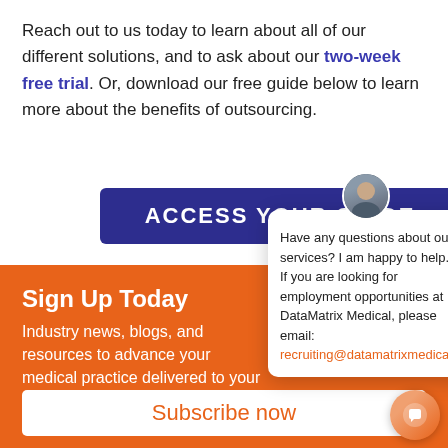Reach out to us today to learn about all of our different solutions, and to ask about our two-week free trial. Or, download our free guide below to learn more about the benefits of outsourcing.
[Figure (other): Dark blue button with text ACCESS YOUR GUIDE]
Sign Up Today
Industry news, blogs, and resources to advance your medical practice delivered to your inbox!
[Figure (other): Subscribe now button on orange background]
[Figure (other): Chat popup overlay with avatar, close X button, message about services and recruiting email, and chat bubble icon]